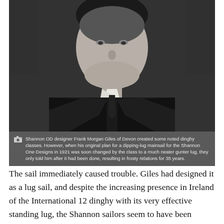[Figure (photo): Black and white portrait photograph of Frank Morgan Giles of Devon, a man in a dark suit and tie with white collar, shown from chest up, slight smile, against a textured dark background.]
Shannon OD designer Frank Morgan Giles of Devon created some noted dinghy classes. However, when his original plan for a dipping-lug mainsail for the Shannon One Designs in 1921 was soon changed by the class to a much neater gunter lug, they only told him after it had been done, resulting in frosty relations for 35 years.
The sail immediately caused trouble. Giles had designed it as a lug sail, and despite the increasing presence in Ireland of the International 12 dinghy with its very effective standing lug, the Shannon sailors seem to have been provided with a dipping lug.